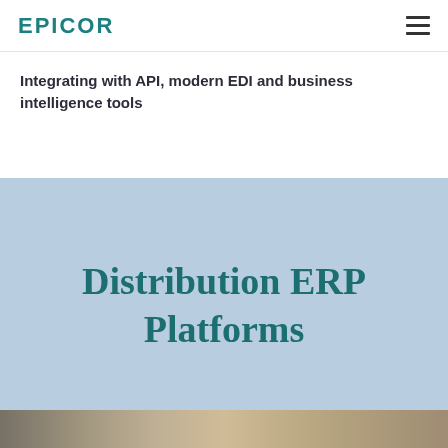EPICOR
Integrating with API, modern EDI and business intelligence tools
Distribution ERP Platforms
[Figure (photo): Partial photo strip at bottom of page showing industrial/warehouse setting]